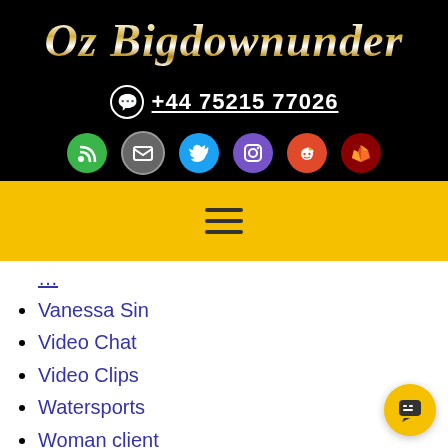Oz Bigdownunder
+44 75215 77026
[Figure (infographic): Social media icons row: RSS (green), Email (grey), Twitter (blue), Instagram (purple), Reddit (orange-red), GitLab (dark red)]
[Figure (infographic): Yellow navigation bar with hamburger menu icon (three horizontal lines)]
Vanessa Sin
Video Chat
Video Clips
Watersports
Woman client
World Naked Bike Ride
Interests